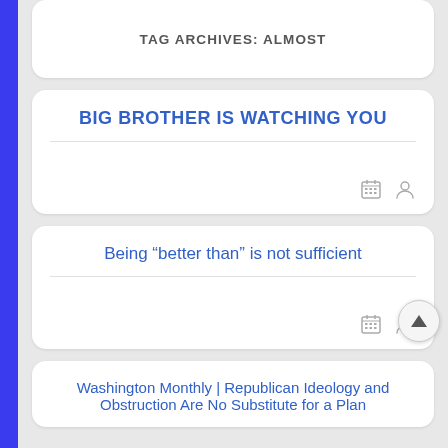TAG ARCHIVES: ALMOST
BIG BROTHER IS WATCHING YOU
Being “better than” is not sufficient
Washington Monthly | Republican Ideology and Obstruction Are No Substitute for a Plan